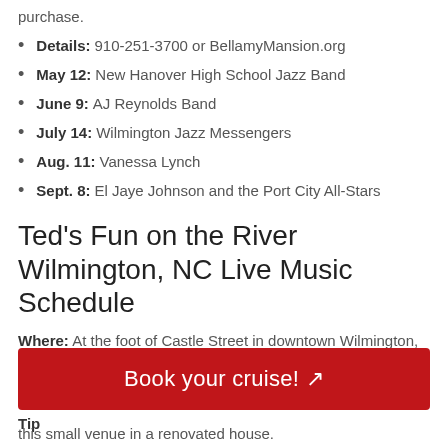purchase.
Details: 910-251-3700 or BellamyMansion.org
May 12: New Hanover High School Jazz Band
June 9: AJ Reynolds Band
July 14: Wilmington Jazz Messengers
Aug. 11: Vanessa Lynch
Sept. 8: El Jaye Johnson and the Port City All-Stars
Ted's Fun on the River Wilmington, NC Live Music Schedule
Where: At the foot of Castle Street in downtown Wilmington, NC, Ted's Fun on the River features local and national artists
When & How Much: Thursdays through Saturdays for a $
Tip
this small venue in a renovated house.